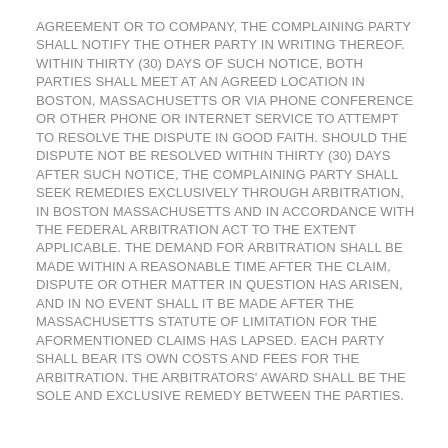AGREEMENT OR TO COMPANY, THE COMPLAINING PARTY SHALL NOTIFY THE OTHER PARTY IN WRITING THEREOF. WITHIN THIRTY (30) DAYS OF SUCH NOTICE, BOTH PARTIES SHALL MEET AT AN AGREED LOCATION IN BOSTON, MASSACHUSETTS OR VIA PHONE CONFERENCE OR OTHER PHONE OR INTERNET SERVICE TO ATTEMPT TO RESOLVE THE DISPUTE IN GOOD FAITH. SHOULD THE DISPUTE NOT BE RESOLVED WITHIN THIRTY (30) DAYS AFTER SUCH NOTICE, THE COMPLAINING PARTY SHALL SEEK REMEDIES EXCLUSIVELY THROUGH ARBITRATION, IN BOSTON MASSACHUSETTS AND IN ACCORDANCE WITH THE FEDERAL ARBITRATION ACT TO THE EXTENT APPLICABLE. THE DEMAND FOR ARBITRATION SHALL BE MADE WITHIN A REASONABLE TIME AFTER THE CLAIM, DISPUTE OR OTHER MATTER IN QUESTION HAS ARISEN, AND IN NO EVENT SHALL IT BE MADE AFTER THE MASSACHUSETTS STATUTE OF LIMITATION FOR THE AFORMENTIONED CLAIMS HAS LAPSED. EACH PARTY SHALL BEAR ITS OWN COSTS AND FEES FOR THE ARBITRATION. THE ARBITRATORS' AWARD SHALL BE THE SOLE AND EXCLUSIVE REMEDY BETWEEN THE PARTIES.